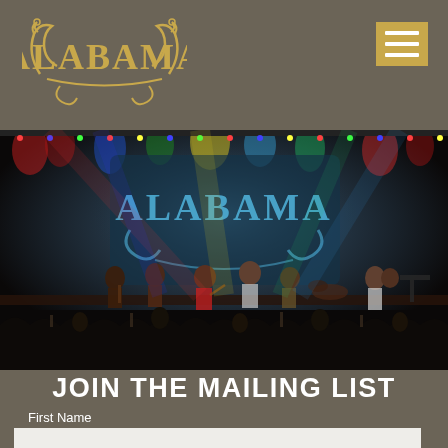Alabama
[Figure (photo): Alabama country band performing live on stage with colorful stage lighting (red, blue, green, yellow) and an Alabama logo backdrop. Multiple musicians visible on stage with a large crowd in the foreground.]
JOIN THE MAILING LIST
First Name